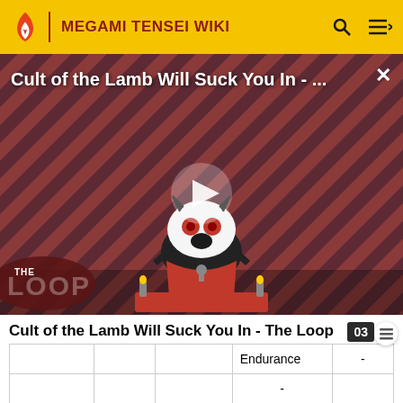MEGAMI TENSEI WIKI
[Figure (screenshot): Video thumbnail for 'Cult of the Lamb Will Suck You In - The Loop' showing an animated lamb character on a striped red/dark background with a play button overlay and 'THE LOOP' text badge]
Cult of the Lamb Will Suck You In - The Loop
|  |  |  | Endurance | - |
| --- | --- | --- | --- | --- |
|  |  |  |  | - |
| - | ?? | 2800 | Agility | - |
|  |  |  |  | - |